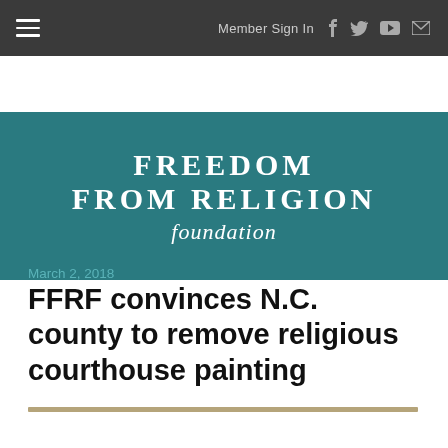≡  Member Sign In  f  t  ▶  ✉
[Figure (logo): Freedom From Religion Foundation logo — white text on teal background. Large serif uppercase text: FREEDOM FROM RELIGION, italic script below: foundation]
March 2, 2018
FFRF convinces N.C. county to remove religious courthouse painting